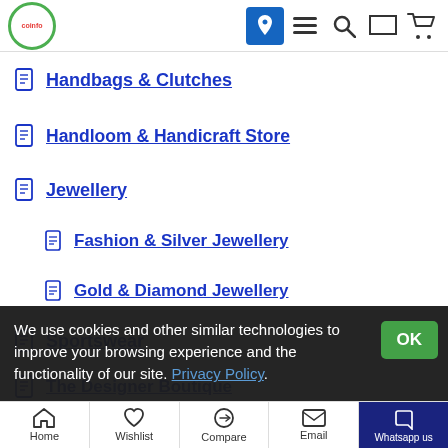Navigation header with logo and icons
Handbags & Clutches
Handloom & Handicraft Store
Jewellery
Fashion & Silver Jewellery
Gold & Diamond Jewellery
Sportswear
The Designer Boutique
Special Offers
We use cookies and other similar technologies to improve your browsing experience and the functionality of our site. Privacy Policy.
Home | Wishlist | Compare | Email | Whatsapp us